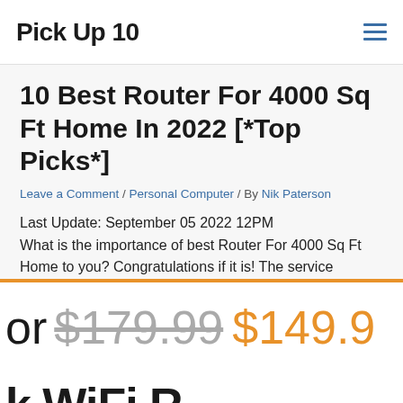Pick Up 10
10 Best Router For 4000 Sq Ft Home In 2022 [*Top Picks*]
Leave a Comment / Personal Computer / By Nik Paterson
Last Update: September 05 2022 12PM
What is the importance of best Router For 4000 Sq Ft Home to you? Congratulations if it is! The service
or $179.99 $149.9